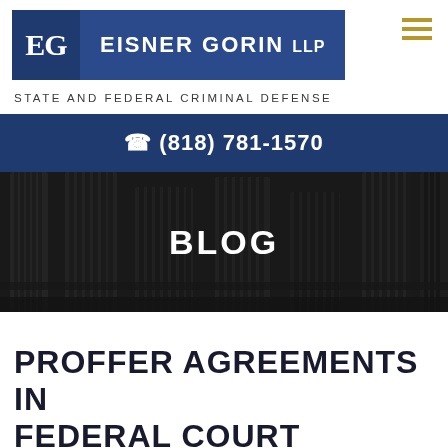[Figure (logo): Eisner Gorin LLP law firm logo with blue background, EG initials and firm name]
STATE AND FEDERAL CRIMINAL DEFENSE
✆ (818) 781-1570
[Figure (photo): Dark background photo of classical stone courthouse columns]
BLOG
PROFFER AGREEMENTS IN FEDERAL COURT